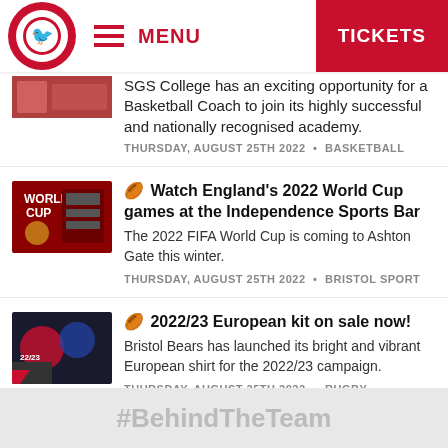MENU | TICKETS
SGS College has an exciting opportunity for a Basketball Coach to join its highly successful and nationally recognised academy.
THURSDAY, AUGUST 25TH 2022 • BASKETBALL
🏉 Watch England's 2022 World Cup games at the Independence Sports Bar
The 2022 FIFA World Cup is coming to Ashton Gate this winter.
THURSDAY, AUGUST 25TH 2022 • BRISTOL SPORT
🏉 2022/23 European kit on sale now!
Bristol Bears has launched its bright and vibrant European shirt for the 2022/23 campaign.
THURSDAY, AUGUST 25TH 2022 • RUGBY
#BehindTheTeam